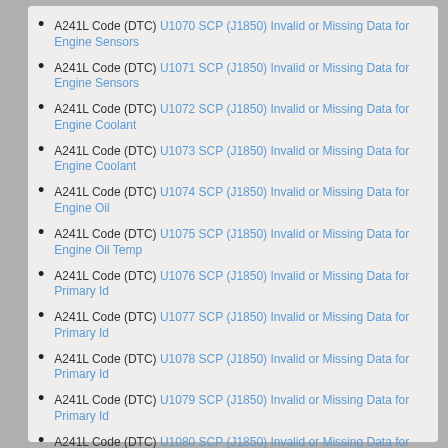A241L Code (DTC) U1070 SCP (J1850) Invalid or Missing Data for Engine Sensors
A241L Code (DTC) U1071 SCP (J1850) Invalid or Missing Data for Engine Sensors
A241L Code (DTC) U1072 SCP (J1850) Invalid or Missing Data for Engine Coolant
A241L Code (DTC) U1073 SCP (J1850) Invalid or Missing Data for Engine Coolant
A241L Code (DTC) U1074 SCP (J1850) Invalid or Missing Data for Engine Oil
A241L Code (DTC) U1075 SCP (J1850) Invalid or Missing Data for Engine Oil Temp
A241L Code (DTC) U1076 SCP (J1850) Invalid or Missing Data for Primary Id
A241L Code (DTC) U1077 SCP (J1850) Invalid or Missing Data for Primary Id
A241L Code (DTC) U1078 SCP (J1850) Invalid or Missing Data for Primary Id
A241L Code (DTC) U1079 SCP (J1850) Invalid or Missing Data for Primary Id
A241L Code (DTC) U1080 SCP (J1850) Invalid or Missing Data for Primary Id